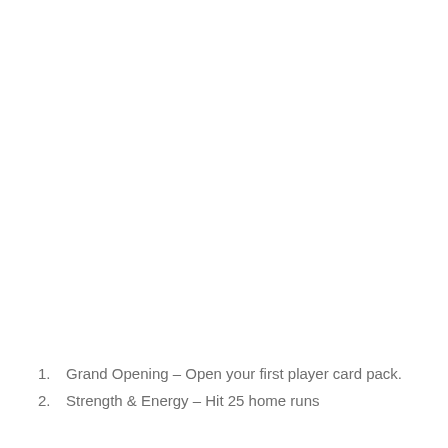1. Grand Opening – Open your first player card pack.
2. Strength & Energy – Hit 25 home runs